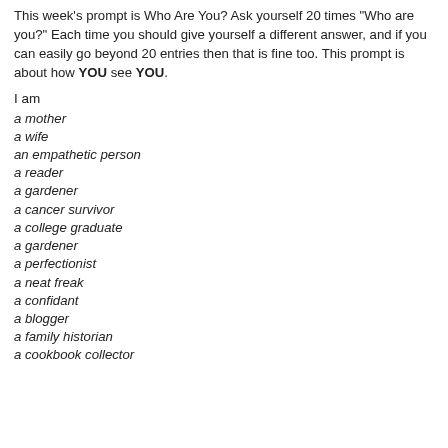This week's prompt is Who Are You?  Ask yourself 20 times "Who are you?"  Each time you should give yourself a different answer, and if you can easily go beyond 20 entries then that is fine too. This prompt is about how YOU see YOU.
I am
a mother
a wife
an empathetic person
a reader
a gardener
a cancer survivor
a college graduate
a gardener
a perfectionist
a neat freak
a confidant
a blogger
a family historian
a cookbook collector